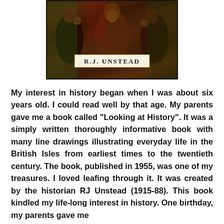[Figure (illustration): Book cover showing medieval figures with a banner reading R.J. UNSTEAD]
My interest in history began when I was about six years old. I could read well by that age. My parents gave me a book called “Looking at History”. It was a simply written thoroughly informative book with many line drawings illustrating everyday life in the British Isles from earliest times to the twentieth century. The book, published in 1955, was one of my treasures. I loved leafing through it. It was created by the historian RJ Unstead (1915-88). This book kindled my life-long interest in history.  One birthday, my parents gave me